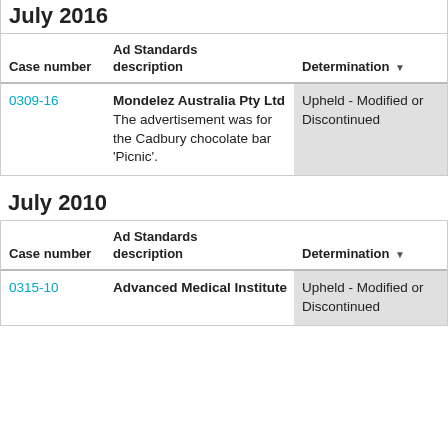July 2016
| Case number | Ad Standards description | Determination | Category |
| --- | --- | --- | --- |
| 0309-16 | Mondelez Australia Pty Ltd
The advertisement was for the Cadbury chocolate bar 'Picnic'. | Upheld - Modified or Discontinued | Food/Be Grocerie |
July 2010
| Case number | Ad Standards description | Determination | Category |
| --- | --- | --- | --- |
| 0315-10 | Advanced Medical Institute | Upheld - Modified or Discontinued | Professio Services |